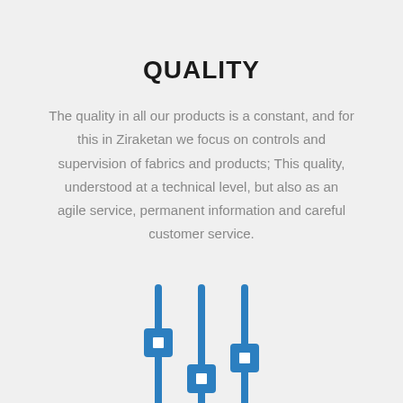QUALITY
The quality in all our products is a constant, and for this in Ziraketan we focus on controls and supervision of fabrics and products; This quality, understood at a technical level, but also as an agile service, permanent information and careful customer service.
[Figure (illustration): Three vertical slider/equalizer control icons in blue, arranged side by side at different heights, representing quality controls and supervision.]